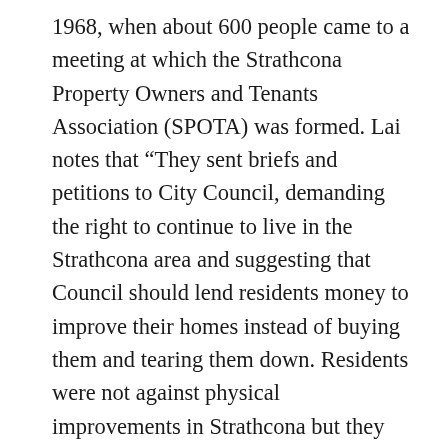1968, when about 600 people came to a meeting at which the Strathcona Property Owners and Tenants Association (SPOTA) was formed. Lai notes that “They sent briefs and petitions to City Council, demanding the right to continue to live in the Strathcona area and suggesting that Council should lend residents money to improve their homes instead of buying them and tearing them down. Residents were not against physical improvements in Strathcona but they disapproved of how the city had handled the whole process. Urban renewal had created more social problems than it had solved; it had resulted in unaccountable psychological and socioeconomic costs, such as the anxiety and uncertainty of the residents,